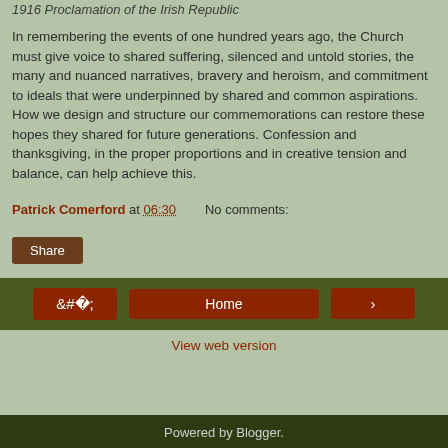1916 Proclamation of the Irish Republic
In remembering the events of one hundred years ago, the Church must give voice to shared suffering, silenced and untold stories, the many and nuanced narratives, bravery and heroism, and commitment to ideals that were underpinned by shared and common aspirations. How we design and structure our commemorations can restore these hopes they shared for future generations. Confession and thanksgiving, in the proper proportions and in creative tension and balance, can help achieve this.
Patrick Comerford at 06:30   No comments:
Share
‹  Home  ›
View web version
Powered by Blogger.